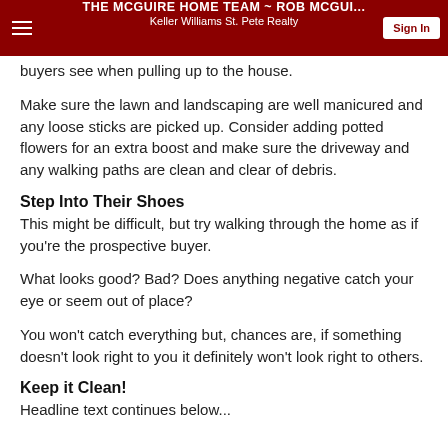THE MCGUIRE HOME TEAM ~ ROB MCGUI... | Keller Williams St. Pete Realty | Sign In
buyers see when pulling up to the house.
Make sure the lawn and landscaping are well manicured and any loose sticks are picked up. Consider adding potted flowers for an extra boost and make sure the driveway and any walking paths are clean and clear of debris.
Step Into Their Shoes
This might be difficult, but try walking through the home as if you’re the prospective buyer.
What looks good? Bad? Does anything negative catch your eye or seem out of place?
You won’t catch everything but, chances are, if something doesn’t look right to you it definitely won’t look right to others.
Keep it Clean!
Headline text continues below...